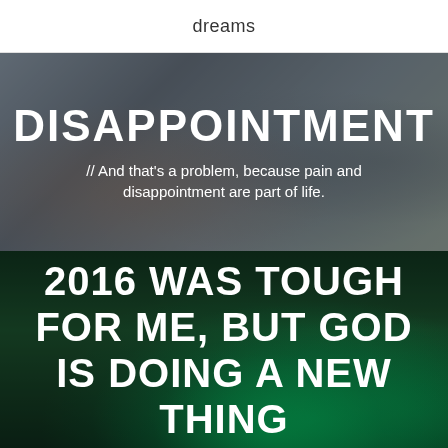dreams
[Figure (photo): People with raised arms against a blurred outdoor background, overlaid with dark transparent layer]
DISAPPOINTMENT
// And that's a problem, because pain and disappointment are part of life.
[Figure (photo): Northern lights / aurora borealis over dark landscape, dark green sky]
2016 WAS TOUGH FOR ME, BUT GOD IS DOING A NEW THING